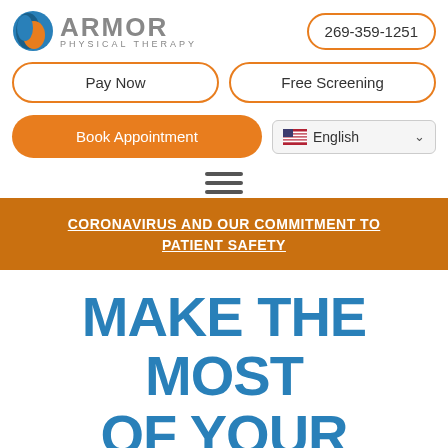[Figure (logo): Armor Physical Therapy logo with orange/blue shield icon and gray text]
269-359-1251
Pay Now
Free Screening
Book Appointment
English
CORONAVIRUS AND OUR COMMITMENT TO PATIENT SAFETY
MAKE THE MOST OF YOUR HEALTH CARE